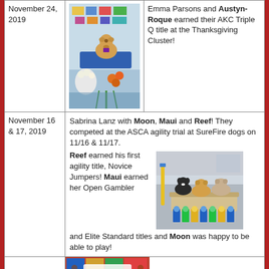| Date | Photo | Description |
| --- | --- | --- |
| November 24, 2019 | [photo of dog] | Emma Parsons and Austyn-Roque earned their AKC Triple Q title at the Thanksgiving Cluster! |
| November 16 & 17, 2019 | [photo of three dogs with ribbons] | Sabrina Lanz with Moon, Maui and Reef! They competed at the ASCA agility trial at SureFire dogs on 11/16 & 11/17. Reef earned his first agility title, Novice Jumpers! Maui earned her Open Gambler and Elite Standard titles and Moon was happy to be able to play! |
|  | [SureFire Dogs photo] | Rick Smyth and Willy earned their... |